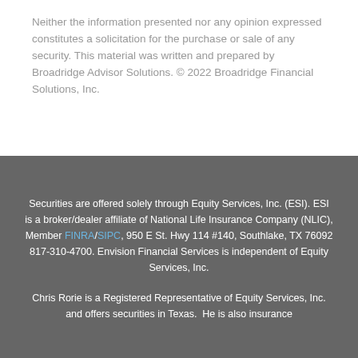Neither the information presented nor any opinion expressed constitutes a solicitation for the purchase or sale of any security. This material was written and prepared by Broadridge Advisor Solutions. © 2022 Broadridge Financial Solutions, Inc.
Securities are offered solely through Equity Services, Inc. (ESI). ESI is a broker/dealer affiliate of National Life Insurance Company (NLIC), Member FINRA/SIPC, 950 E St. Hwy 114 #140, Southlake, TX 76092 817-310-4700. Envision Financial Services is independent of Equity Services, Inc.
Chris Rorie is a Registered Representative of Equity Services, Inc. and offers securities in Texas.  He is also insurance